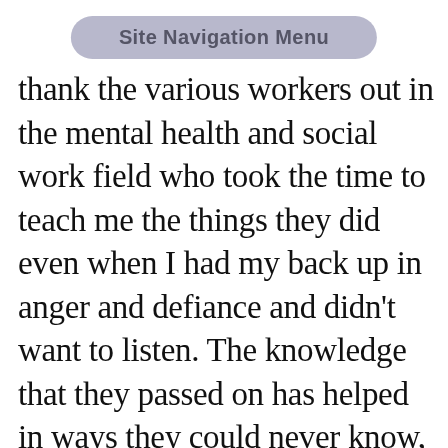Site Navigation Menu
thank the various workers out in the mental health and social work field who took the time to teach me the things they did even when I had my back up in anger and defiance and didn't want to listen. The knowledge that they passed on has helped in ways they could never know, and I was fortunate that I was a